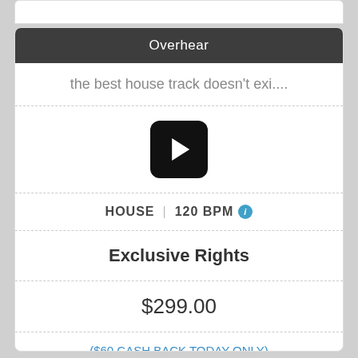Overhear
the best house track doesn't exi....
[Figure (other): Black rounded rectangle play button with white triangle play icon in center]
HOUSE | 120 BPM
Exclusive Rights
$299.00
($60 CASH BACK TODAY ONLY)
Buy it now $239.00